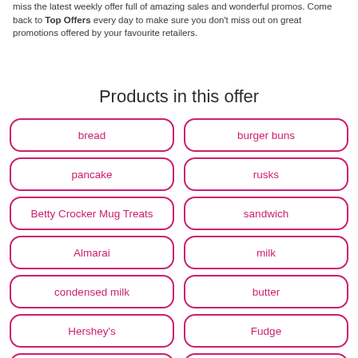miss the latest weekly offer full of amazing sales and wonderful promos. Come back to Top Offers every day to make sure you don't miss out on great promotions offered by your favourite retailers.
Products in this offer
bread
burger buns
pancake
rusks
Betty Crocker Mug Treats
sandwich
Almarai
milk
condensed milk
butter
Hershey's
Fudge